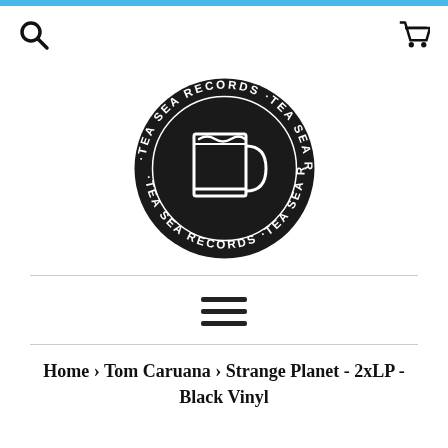[search icon] [cart icon]
[Figure (logo): Tea Sea Records circular logo featuring a mug/cup illustration in the center with text 'TEA SEA RECORDS' repeated around the circle border]
Home › Tom Caruana › Strange Planet - 2xLP - Black Vinyl